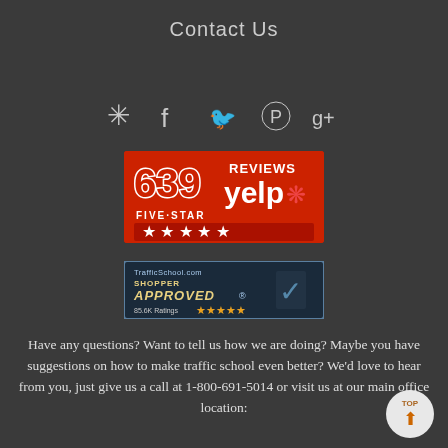Contact Us
[Figure (infographic): Social media icons row: Yelp, Facebook, Twitter, Pinterest, Google+]
[Figure (logo): Yelp badge: 639 Five-Star Reviews with 5 red stars]
[Figure (logo): TrafficSchool.com Shopper Approved badge with 85.6K Ratings and 5 gold stars]
Have any questions? Want to tell us how we are doing? Maybe you have suggestions on how to make traffic school even better? We'd love to hear from you, just give us a call at 1-800-691-5014 or visit us at our main office location: